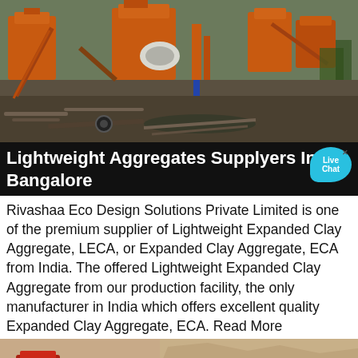[Figure (photo): Industrial mining/crushing plant with large orange-colored machines, conveyor belts, and equipment spread across an outdoor site with scattered metal pipes and debris.]
Lightweight Aggregates Supplyers In Bangalore
Rivashaa Eco Design Solutions Private Limited is one of the premium supplier of Lightweight Expanded Clay Aggregate, LECA, or Expanded Clay Aggregate, ECA from India. The offered Lightweight Expanded Clay Aggregate from our production facility, the only manufacturer in India which offers excellent quality Expanded Clay Aggregate, ECA. Read More
[Figure (photo): Stone quarry or aggregate mining site with machinery and earth-moving equipment visible among sandy/rocky terrain.]